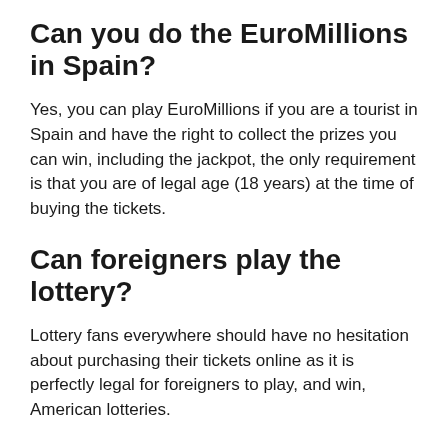Can you do the EuroMillions in Spain?
Yes, you can play EuroMillions if you are a tourist in Spain and have the right to collect the prizes you can win, including the jackpot, the only requirement is that you are of legal age (18 years) at the time of buying the tickets.
Can foreigners play the lottery?
Lottery fans everywhere should have no hesitation about purchasing their tickets online as it is perfectly legal for foreigners to play, and win, American lotteries.